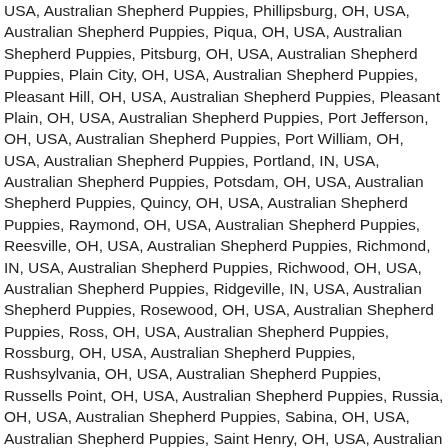USA, Australian Shepherd Puppies, Phillipsburg, OH, USA, Australian Shepherd Puppies, Piqua, OH, USA, Australian Shepherd Puppies, Pitsburg, OH, USA, Australian Shepherd Puppies, Plain City, OH, USA, Australian Shepherd Puppies, Pleasant Hill, OH, USA, Australian Shepherd Puppies, Pleasant Plain, OH, USA, Australian Shepherd Puppies, Port Jefferson, OH, USA, Australian Shepherd Puppies, Port William, OH, USA, Australian Shepherd Puppies, Portland, IN, USA, Australian Shepherd Puppies, Potsdam, OH, USA, Australian Shepherd Puppies, Quincy, OH, USA, Australian Shepherd Puppies, Raymond, OH, USA, Australian Shepherd Puppies, Reesville, OH, USA, Australian Shepherd Puppies, Richmond, IN, USA, Australian Shepherd Puppies, Richwood, OH, USA, Australian Shepherd Puppies, Ridgeville, IN, USA, Australian Shepherd Puppies, Rosewood, OH, USA, Australian Shepherd Puppies, Ross, OH, USA, Australian Shepherd Puppies, Rossburg, OH, USA, Australian Shepherd Puppies, Rushsylvania, OH, USA, Australian Shepherd Puppies, Russells Point, OH, USA, Australian Shepherd Puppies, Russia, OH, USA, Australian Shepherd Puppies, Sabina, OH, USA, Australian Shepherd Puppies, Saint Henry, OH, USA, Australian Shepherd Puppies, Saint Paris, OH, USA, Australian Shepherd Puppies, Salamonia, IN, USA, Australian Shepherd Puppies, Saratoga, IN, USA, Australian Shepherd Puppies, Sedalia, OH, USA, Australian Shepherd Puppies, Seven Mile, OH, USA, Australian Shepherd Puppies, Shandon, OH, USA, Australian Shepherd Puppies, Sidney, OH, USA,